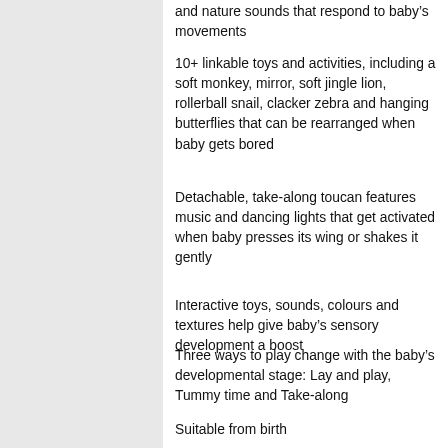and nature sounds that respond to baby's movements
10+ linkable toys and activities, including a soft monkey, mirror, soft jingle lion, rollerball snail, clacker zebra and hanging butterflies that can be rearranged when baby gets bored
Detachable, take-along toucan features music and dancing lights that get activated when baby presses its wing or shakes it gently
Interactive toys, sounds, colours and textures help give baby's sensory development a boost
Three ways to play change with the baby's developmental stage: Lay and play, Tummy time and Take-along
Suitable from birth
[Figure (logo): Amazon.co.uk logo with orange arrow underneath]
Looking for something?
We're sorry. The Web address you entered is not a functioning page on our site.